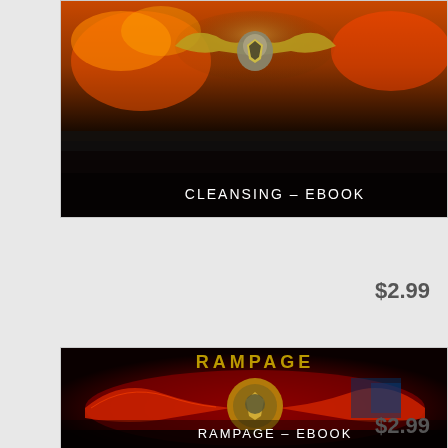[Figure (photo): Book cover for 'Cleansing - Ebook' showing a dark scene with flames and a metallic eagle emblem. White text overlay reads 'CLEANSING – EBOOK'.]
$2.99
[Figure (photo): Book cover for 'Rampage - Ebook' showing a dark red scene with a winged eagle emblem and gold 'RAMPAGE' text. White text overlay reads 'RAMPAGE – EBOOK'.]
$2.99